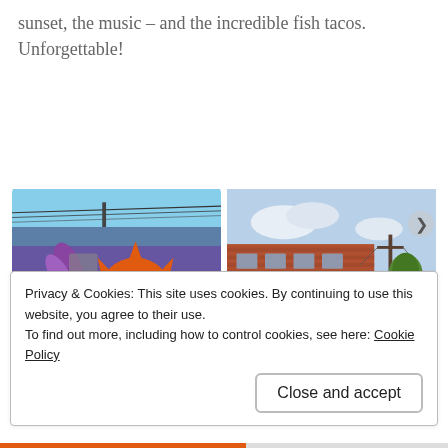sunset, the music – and the incredible fish tacos. Unforgettable!
[Figure (photo): Left photo: Building with colorful mural featuring a large orange sunburst/sun design on a blue background, with power lines above. Right photo: Red brick commercial buildings along a street with power poles and trees.]
Privacy & Cookies: This site uses cookies. By continuing to use this website, you agree to their use.
To find out more, including how to control cookies, see here: Cookie Policy
Close and accept